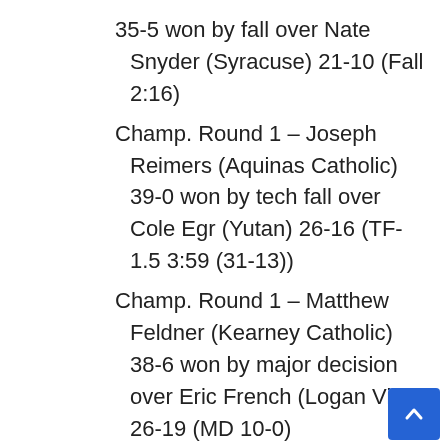35-5 won by fall over Nate Snyder (Syracuse) 21-10 (Fall 2:16)
Champ. Round 1 – Joseph Reimers (Aquinas Catholic) 39-0 won by tech fall over Cole Egr (Yutan) 26-16 (TF-1.5 3:59 (31-13))
Champ. Round 1 – Matthew Feldner (Kearney Catholic) 38-6 won by major decision over Eric French (Logan View) 26-19 (MD 10-0)
Champ. Round 1 – Aj Hawthorne (Battle Creek) 25-7 won by fall over Andrew Feely (Nebraska Christian) 23-15 (Fall 2:25)
Champ. Round 1 – Ethan Poppe (Crofton/Bloomfield) 41-5 won by fall over Dylan Nantkes (Centennial) 33-15 (Fall 1:03)
Champ. Round 1 – Jacob Lech (Ord) 33-11 won by major decision over Dalton Mueller (North Bend Central) 34-3 (MD 18-8)